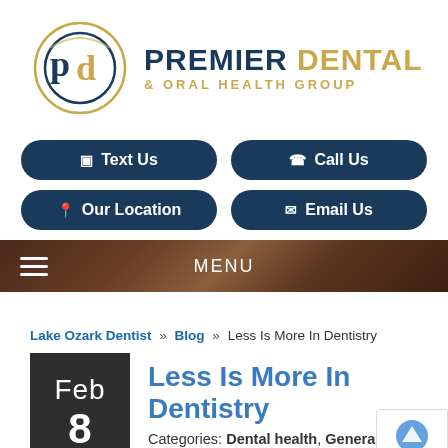[Figure (logo): Premier Dental & Oral Health Group logo with circular PD emblem in teal and gold, and text 'PREMIER DENTAL & ORAL HEALTH GROUP']
Text Us
Call Us
Our Location
Email Us
MENU
Lake Ozark Dentist » Blog » Less Is More In Dentistry
Less Is More In Dentistry
Categories: Dental health, General dentistry